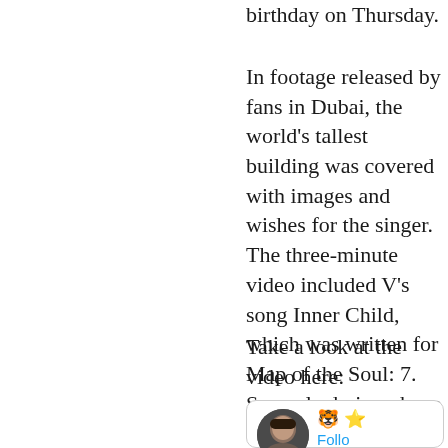birthday on Thursday.
In footage released by fans in Dubai, the world's tallest building was covered with images and wishes for the singer. The three-minute video included V's song Inner Child, which was written for Map of the Soul: 7. Several admirers have been seen singing along with the song.
Take a look at the video here:
[Figure (screenshot): Embedded social media post card with a user avatar (person with dark hair), emoji icons (tiger face and star), and a Follow button in blue.]